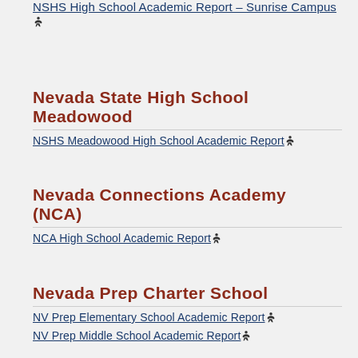NSHS High School Academic Report – Sunrise Campus ♿
Nevada State High School Meadowood
NSHS Meadowood High School Academic Report ♿
Nevada Connections Academy (NCA)
NCA High School Academic Report ♿
Nevada Prep Charter School
NV Prep Elementary School Academic Report ♿
NV Prep Middle School Academic Report ♿